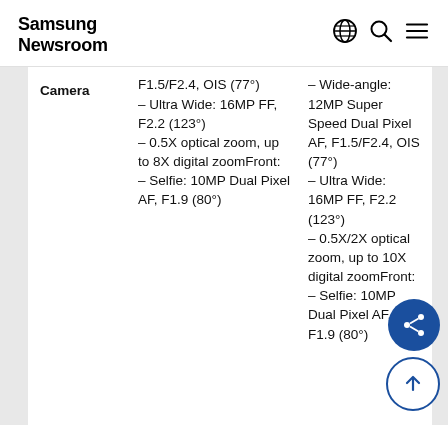Samsung Newsroom
|  | Column 1 | Column 2 |
| --- | --- | --- |
| Camera | F1.5/F2.4, OIS (77°)
– Ultra Wide: 16MP FF, F2.2 (123°)
– 0.5X optical zoom, up to 8X digital zoomFront:
– Selfie: 10MP Dual Pixel AF, F1.9 (80°) | – Wide-angle: 12MP Super Speed Dual Pixel AF, F1.5/F2.4, OIS (77°)
– Ultra Wide: 16MP FF, F2.2 (123°)
– 0.5X/2X optical zoom, up to 10X digital zoomFront:
– Selfie: 10MP Dual Pixel AF,  F1.9 (80°) |